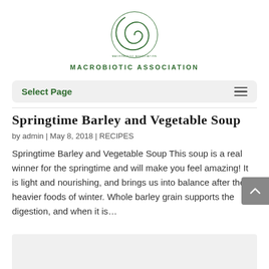[Figure (logo): Macrobiotic Association spiral logo in dark green, circular design with text around it]
MACROBIOTIC ASSOCIATION
Select Page
Springtime Barley and Vegetable Soup
by admin | May 8, 2018 | RECIPES
Springtime Barley and Vegetable Soup This soup is a real winner for the springtime and will make you feel amazing! It is light and nourishing, and brings us into balance after the heavier foods of winter. Whole barley grain supports the digestion, and when it is...
[Figure (photo): Bottom partial image, light gray/beige background, beginning of a recipe article image]